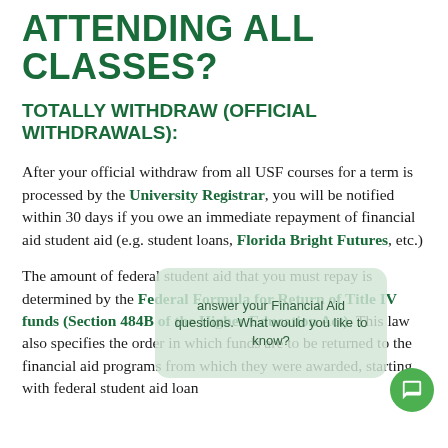ATTENDING ALL CLASSES?
TOTALLY WITHDRAW (OFFICIAL WITHDRAWALS):
After your official withdraw from all USF courses for a term is processed by the University Registrar, you will be notified within 30 days if you owe an immediate repayment of financial aid student aid (e.g. student loans, Florida Bright Futures, etc.)
The amount of federal student aid that you must repay is determined by the Federal Formula for Return of Title IV funds (Section 484B of the Higher Education Act). This law also specifies the order in which funds are to be returned to the financial aid programs from which they were awarded, starting with federal student aid loan